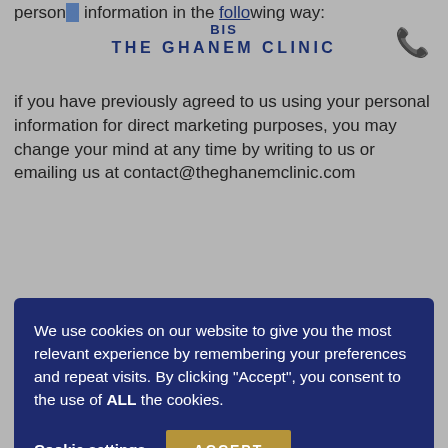THE GHANEM CLINIC
personal information in the following way:
if you have previously agreed to us using your personal information for direct marketing purposes, you may change your mind at any time by writing to us or emailing us at contact@theghanemclinic.com
We use cookies on our website to give you the most relevant experience by remembering your preferences and repeat visits. By clicking "Accept", you consent to the use of ALL the cookies.
You may request details of personal information which we hold about you under the Data Protection Act 1998. If you would like a copy of the information held on you please email enquiries@theghanemclinic.com
If you believe that any information we are holding on you is